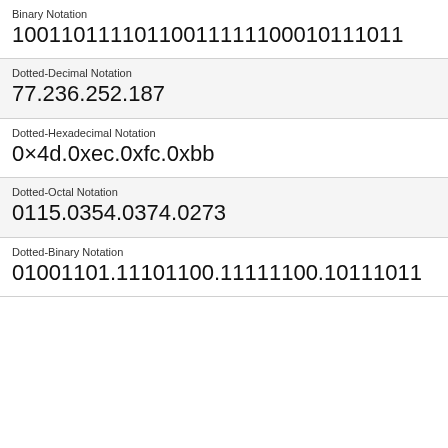Binary Notation
10011011110110011111100010111011
Dotted-Decimal Notation
77.236.252.187
Dotted-Hexadecimal Notation
0x4d.0xec.0xfc.0xbb
Dotted-Octal Notation
0115.0354.0374.0273
Dotted-Binary Notation
01001101.11101100.11111100.10111011